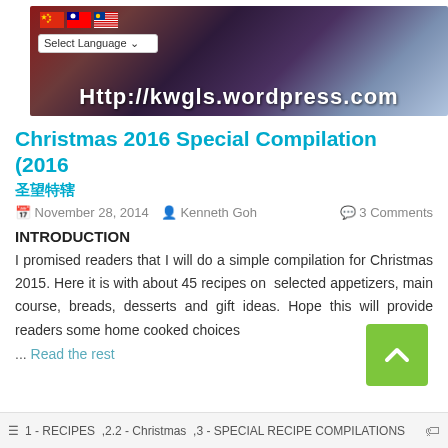[Figure (photo): Blog banner image showing Christmas decorations with gold ribbons and ornaments on a blue patterned background. Flags (China, Taiwan, Malaysia) and a language selector dropdown are overlaid. URL 'Http://kwgls.wordpress.com' displayed at the bottom of the banner.]
Christmas 2016 Special Compilation (2016圣诞特辑)
November 28, 2014   Kenneth Goh   3 Comments
INTRODUCTION
I promised readers that I will do a simple compilation for Christmas 2015. Here it is with about 45 recipes on  selected appetizers, main course, breads, desserts and gift ideas. Hope this will provide readers some home cooked choices
... Read the rest
1 - RECIPES ,2.2 - Christmas ,3 - SPECIAL RECIPE COMPILATIONS